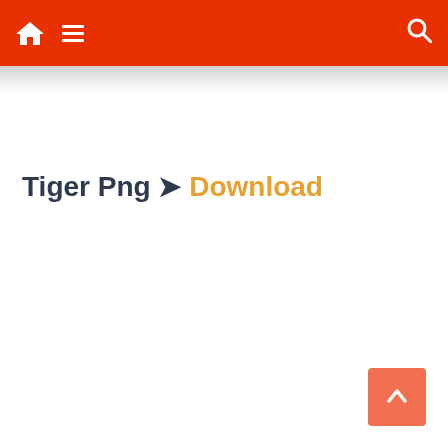Tiger Png ➤ Download
Tiger Png ➤ Download